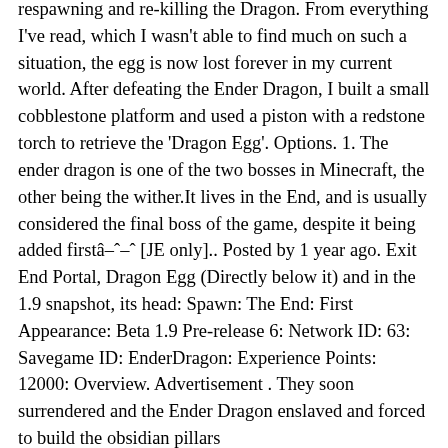respawning and re-killing the Dragon. From everything I've read, which I wasn't able to find much on such a situation, the egg is now lost forever in my current world. After defeating the Ender Dragon, I built a small cobblestone platform and used a piston with a redstone torch to retrieve the 'Dragon Egg'. Options. 1. The ender dragon is one of the two bosses in Minecraft, the other being the wither.It lives in the End, and is usually considered the final boss of the game, despite it being added firstâ [JE only].. Posted by 1 year ago. Exit End Portal, Dragon Egg (Directly below it) and in the 1.9 snapshot, its head: Spawn: The End: First Appearance: Beta 1.9 Pre-release 6: Network ID: 63: Savegame ID: EnderDragon: Experience Points: 12000: Overview. Advertisement . They soon surrendered and the Ender Dragon enslaved and forced to build the obsidian pillars